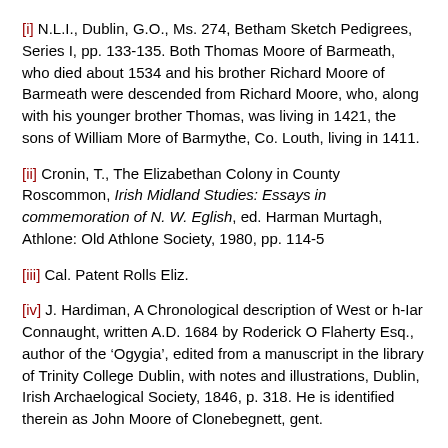[i] N.L.I., Dublin, G.O., Ms. 274, Betham Sketch Pedigrees, Series I, pp. 133-135. Both Thomas Moore of Barmeath, who died about 1534 and his brother Richard Moore of Barmeath were descended from Richard Moore, who, along with his younger brother Thomas, was living in 1421, the sons of William More of Barmythe, Co. Louth, living in 1411.
[ii] Cronin, T., The Elizabethan Colony in County Roscommon, Irish Midland Studies: Essays in commemoration of N. W. Eglish, ed. Harman Murtagh, Athlone: Old Athlone Society, 1980, pp. 114-5
[iii] Cal. Patent Rolls Eliz.
[iv] J. Hardiman, A Chronological description of West or h-Iar Connaught, written A.D. 1684 by Roderick O Flaherty Esq., author of the ‘Ogygia’, edited from a manuscript in the library of Trinity College Dublin, with notes and illustrations, Dublin, Irish Archaelogical Society, 1846, p. 318. He is identified therein as John Moore of Clonebegnett, gent.